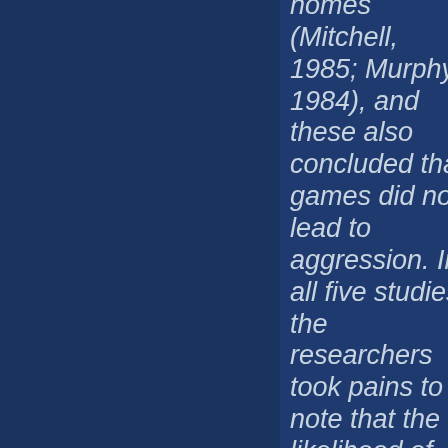homes (Mitchell, 1985; Murphy, 1984), and these also concluded that games did not lead to aggression. In all five studies, the researchers took pains to note that the likelihood of aggressive behavior was inevitably related to parenting